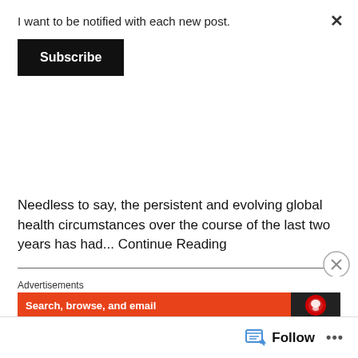I want to be notified with each new post.
Subscribe
Needless to say, the persistent and evolving global health circumstances over the course of the last two years has had… Continue Reading
ECONOMY / GOVERNMENT
Half a billion dollars later, and nothing to show for it
[Figure (photo): Dark background photo of a man in a suit, likely Justin Trudeau, with blue lighting]
On August 15th, Justin Trudeau plunged this country into an unnecessary election campaign while blatantly neglecting several major national crises… Continue Reading
Advertisements
Search, browse, and email
Follow ...